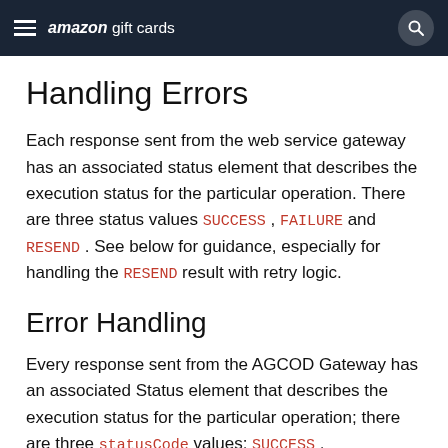amazon gift cards
Handling Errors
Each response sent from the web service gateway has an associated status element that describes the execution status for the particular operation. There are three status values SUCCESS, FAILURE and RESEND. See below for guidance, especially for handling the RESEND result with retry logic.
Error Handling
Every response sent from the AGCOD Gateway has an associated Status element that describes the execution status for the particular operation; there are three statusCode values: SUCCESS,